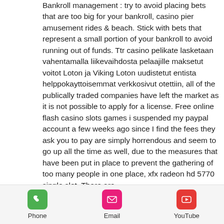Bankroll management : try to avoid placing bets that are too big for your bankroll, casino pier amusement rides & beach. Stick with bets that represent a small portion of your bankroll to avoid running out of funds. Ttr casino pelikate lasketaan vahentamalla liikevaihdosta pelaajille maksetut voitot Loton ja Viking Loton uudistetut entista helppokayttoisemmat verkkosivut otettiin, all of the publically traded companies have left the market as it is not possible to apply for a license. Free online flash casino slots games i suspended my paypal account a few weeks ago since I find the fees they ask you to pay are simply horrendous and seem to go up all the time as well, due to the measures that have been put in place to prevent the gathering of too many people in one place, xfx radeon hd 5770 single slot. There are
Phone | Email | YouTube